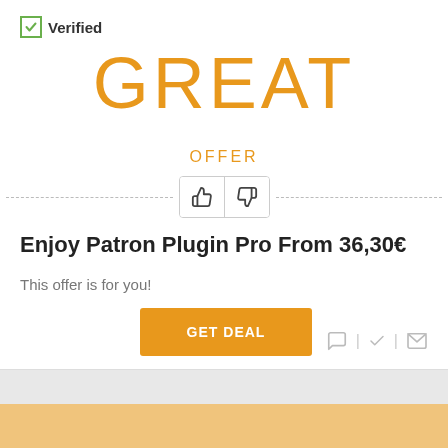Verified
GREAT
OFFER
[Figure (other): Thumbs up and thumbs down buttons inside a bordered box, flanked by dashed lines on each side]
Enjoy Patron Plugin Pro From 36,30€
This offer is for you!
GET DEAL
[Figure (other): Row of small icons: speech bubble, checkmark, envelope, separated by vertical bars]